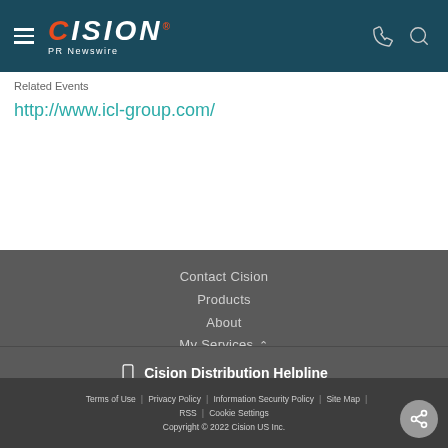CISION PR Newswire
Related Events
http://www.icl-group.com/
Contact Cision
Products
About
My Services
Cision Distribution Helpline
888-776-0942
Terms of Use | Privacy Policy | Information Security Policy | Site Map | RSS | Cookie Settings
Copyright © 2022 Cision US Inc.